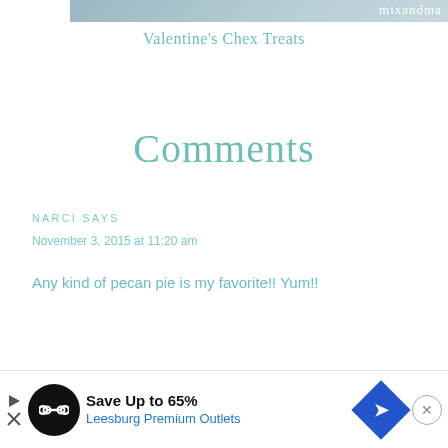[Figure (photo): Partial header image with cursive text reading 'mixandma' on a blue-gray gradient background]
Valentine's Chex Treats
Comments
NARCI SAYS
November 3, 2015 at 11:20 am
Any kind of pecan pie is my favorite!! Yum!!
MEGAN SAYS
Nove...
[Figure (screenshot): Advertisement banner: Save Up to 65% Leesburg Premium Outlets with play button, infinity logo icon, and direction sign icon]